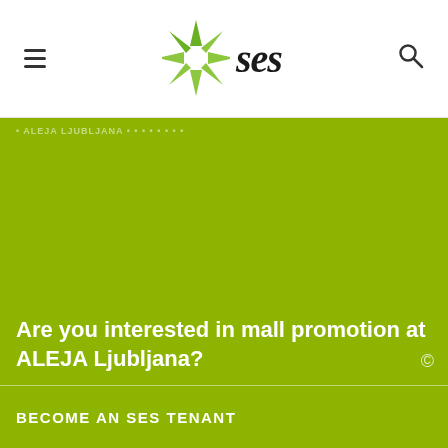SES
[Figure (illustration): Large green promotional background area for ALEJA Ljubljana mall]
Are you interested in mall promotion at ALEJA Ljubljana?
BECOME AN SES TENANT